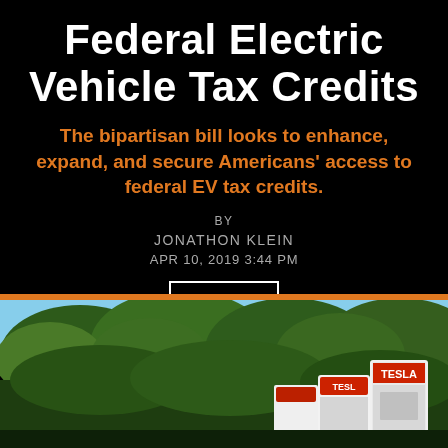Federal Electric Vehicle Tax Credits
The bipartisan bill looks to enhance, expand, and secure Americans' access to federal EV tax credits.
BY
JONATHON KLEIN
APR 10, 2019 3:44 PM
NEWS
[Figure (photo): Photo of Tesla Supercharger stations with trees in background and blue sky]